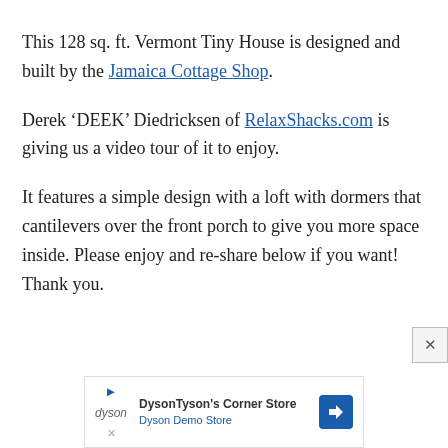This 128 sq. ft. Vermont Tiny House is designed and built by the Jamaica Cottage Shop.
Derek ‘DEEK’ Diedricksen of RelaxShacks.com is giving us a video tour of it to enjoy.
It features a simple design with a loft with dormers that cantilevers over the front porch to give you more space inside. Please enjoy and re-share below if you want! Thank you.
[Figure (other): Advertisement banner for DysonTyson’s Corner Store / Dyson Demo Store with Dyson logo and navigation arrow icon]